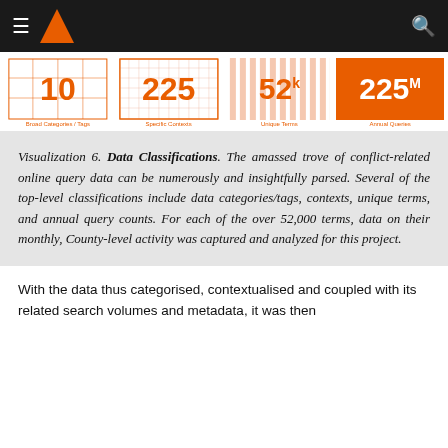Navigation bar with logo and search
[Figure (infographic): Four data stat boxes: 10 Broad Categories/Tags, 225 Specific Contexts, 52k Unique Terms, 225M Annual Queries]
Visualization 6. Data Classifications. The amassed trove of conflict-related online query data can be numerously and insightfully parsed. Several of the top-level classifications include data categories/tags, contexts, unique terms, and annual query counts. For each of the over 52,000 terms, data on their monthly, County-level activity was captured and analyzed for this project.
With the data thus categorised, contextualised and coupled with its related search volumes and metadata, it was then